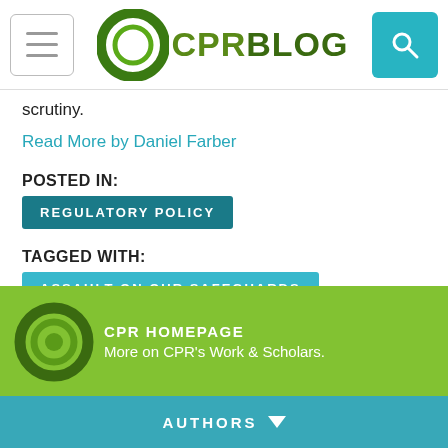CPR BLOG
scrutiny.
Read More by Daniel Farber
POSTED IN:
REGULATORY POLICY
TAGGED WITH:
ASSAULT ON OUR SAFEGUARDS
OVERSIGHT
[Figure (logo): CPR Homepage banner with green background, CPR logo, text 'CPR HOMEPAGE' and 'More on CPR’s Work & Scholars.']
AUTHORS